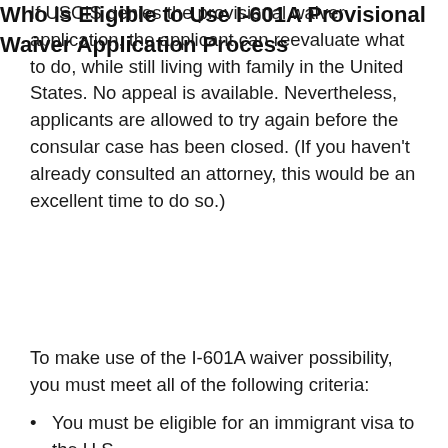If USCIS denies the provisional waiver application, the applicant can reevaluate what to do, while still living with family in the United States. No appeal is available. Nevertheless, applicants are allowed to try again before the consular case has been closed. (If you haven't already consulted an attorney, this would be an excellent time to do so.)
Who Is Eligible to Use I-601A Provisional Waiver Application Process
To make use of the I-601A waiver possibility, you must meet all of the following criteria:
You must be eligible for an immigrant visa to the U.S.